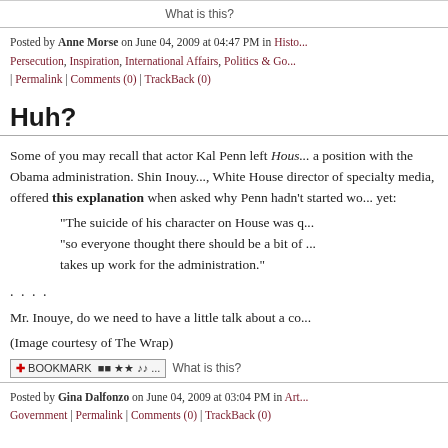What is this?
Posted by Anne Morse on June 04, 2009 at 04:47 PM in Histo... Persecution, Inspiration, International Affairs, Politics & Go... | Permalink | Comments (0) | TrackBack (0)
Huh?
Some of you may recall that actor Kal Penn left Hous... a position with the Obama administration. Shin Inouy... White House director of specialty media, offered this explanation when asked why Penn hadn't started wo... yet:
"The suicide of his character on House was q... "so everyone thought there should be a bit of ... takes up work for the administration."
. . . .
Mr. Inouye, do we need to have a little talk about a co...
(Image courtesy of The Wrap)
What is this?
Posted by Gina Dalfonzo on June 04, 2009 at 03:04 PM in Art... Government | Permalink | Comments (0) | TrackBack (0)